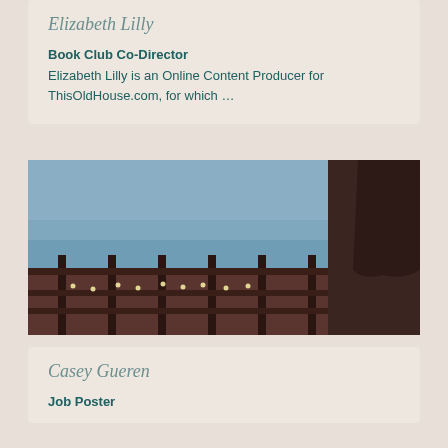Elizabeth Lilly
Book Club Co-Director
Elizabeth Lilly is an Online Content Producer for ThisOldHouse.com, for which ...
[Figure (photo): Person standing on a deck/balcony with wooden railing and string lights, water visible in background, wearing dark clothing]
Casey Gueren
Job Poster